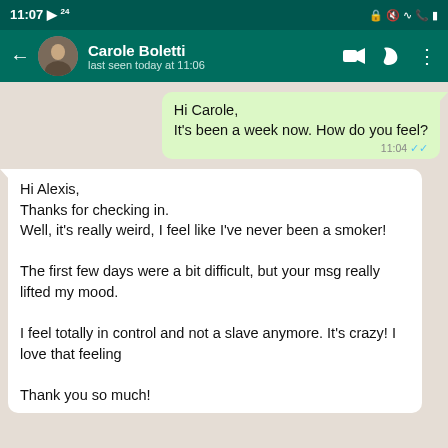11:07 [status icons]
Carole Boletti — last seen today at 11:06
Hi Carole,
It's been a week now. How do you feel?
11:04
Hi Alexis,
Thanks for checking in.
Well, it's really weird, I feel like I've never been a smoker!

The first few days were a bit difficult, but your msg really lifted my mood.

I feel totally in control and not a slave anymore. It's crazy! I love that feeling

Thank you so much!